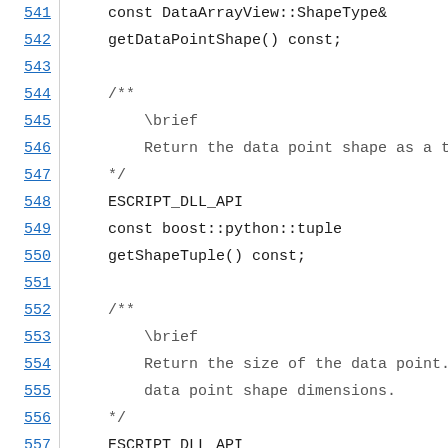Source code listing, lines 541-563, showing C++ API documentation with Doxygen comments and method declarations including getDataPointShape(), getShapeTuple(), getDataPointSize(), and a partial comment for a doubles-related method.